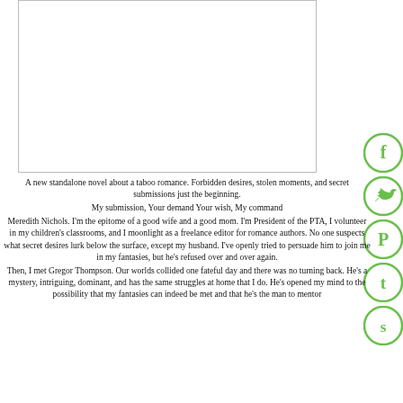[Figure (illustration): Book cover image placeholder — white rectangle with a thin border]
[Figure (other): Social media sharing icons on the right side: Facebook (f), Twitter (bird), Pinterest (P), Tumblr (t), StumbleUpon (s) — all green circles]
A new standalone novel about a taboo romance. Forbidden desires, stolen moments, and secret submissions just the beginning.
My submission, Your demand Your wish, My command
Meredith Nichols. I'm the epitome of a good wife and a good mom. I'm President of the PTA, I volunteer in my children's classrooms, and I moonlight as a freelance editor for romance authors. No one suspects what secret desires lurk below the surface, except my husband. I've openly tried to persuade him to join me in my fantasies, but he's refused over and over again.
Then, I met Gregor Thompson. Our worlds collided one fateful day and there was no turning back. He's a mystery, intriguing, dominant, and has the same struggles at home that I do. He's opened my mind to the possibility that my fantasies can indeed be met and that he's the man to mentor